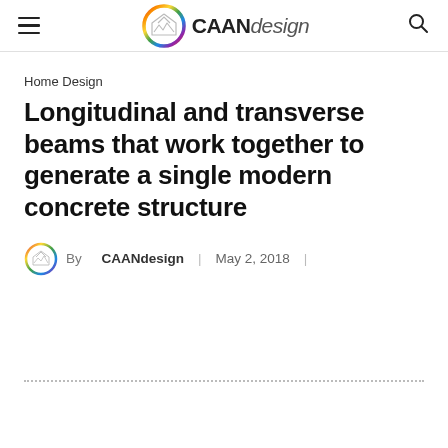CAANdesign
Home Design
Longitudinal and transverse beams that work together to generate a single modern concrete structure
By CAANdesign | May 2, 2018